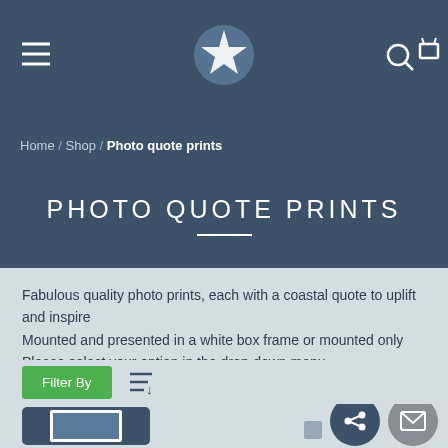[Figure (screenshot): Website header navigation bar with hamburger menu on left, star logo in center circle, search and cart icons on right, all on dark blue-gray background]
Home / Shop / Photo quote prints
PHOTO QUOTE PRINTS
Fabulous quality photo prints, each with a coastal quote to uplift and inspire
Mounted and presented in a white box frame or mounted only
Please select your option in the drop-down menu
Filter By
[Figure (screenshot): Bottom portion of page with a product thumbnail showing a white-framed picture on dark background, share button (dark circle with share icon), and email button (gray circle with envelope icon)]